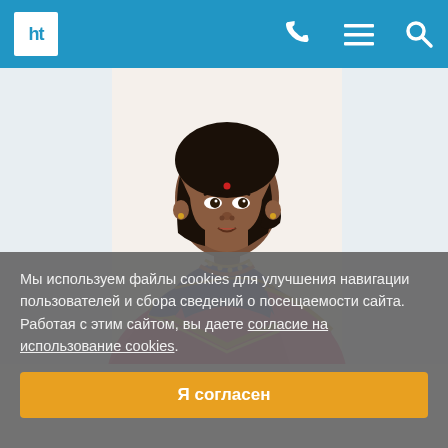[Figure (screenshot): Mobile website header/navbar with 'ht' logo in white box on blue background, phone icon, hamburger menu icon, and search icon]
[Figure (photo): Portrait photo of a woman wearing a pink saree with gold border and blue blouse, gold/bead necklace, dark hair pulled back, looking at camera against white background]
Мы используем файлы cookies для улучшения навигации пользователей и сбора сведений о посещаемости сайта. Работая с этим сайтом, вы даете согласие на использование cookies.
Я согласен